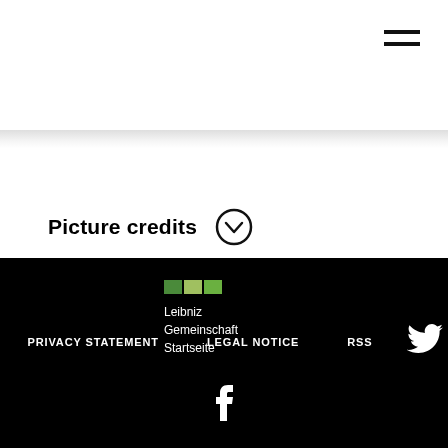≡ (hamburger menu icon)
Picture credits ⌄
Leibniz Gemeinschaft Startseite | PRIVACY STATEMENT | LEGAL NOTICE | RSS | Twitter icon | Facebook icon